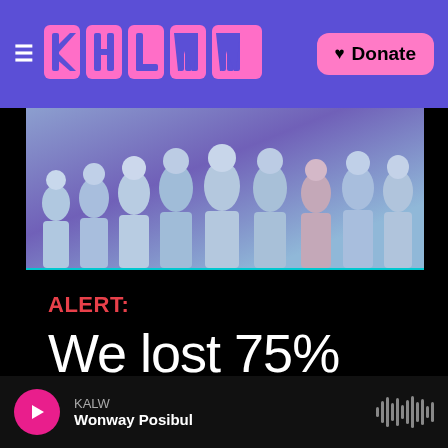KALW navigation bar with logo and Donate button
[Figure (photo): Group photo of people in light blue shirts/clothing standing together, with a purple/blue gradient background]
ALERT:
We lost 75% of our funding.
We need your help.
DONATE NOW!
KALW — Wonway Posibul (audio player bar)